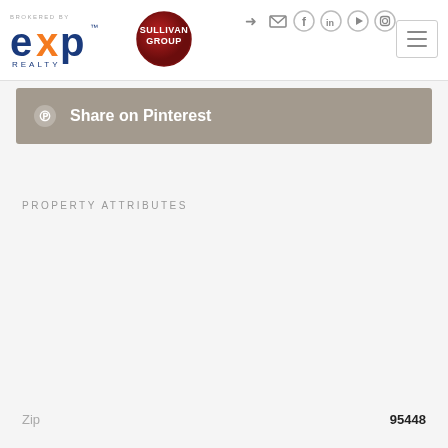eXp Realty — Sullivan Group logo header with nav icons
[Figure (logo): eXp Realty brokered by logo and Sullivan Group circular badge]
Share on Pinterest
PROPERTY ATTRIBUTES
| Attribute | Value |
| --- | --- |
| MLS# | 322045800 |
| Type | Land |
| County | SONOMA |
| City | Healdsburg |
| Area | Healdsburg |
| Zip | 95448 |